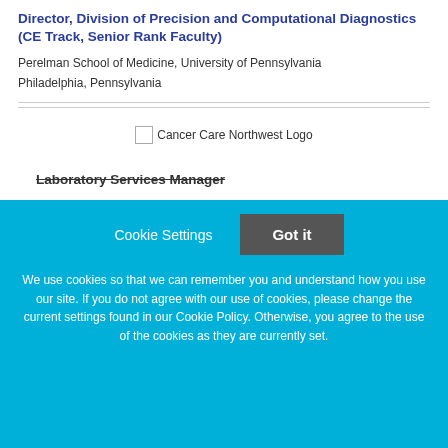Director, Division of Precision and Computational Diagnostics (CE Track, Senior Rank Faculty)
Perelman School of Medicine, University of Pennsylvania
Philadelphia, Pennsylvania
[Figure (logo): Cancer Care Northwest Logo placeholder image]
Laboratory Services Manager
Cookie Settings  Got it

We use cookies so that we can remember you and understand how you use our site. If you do not agree with our use of cookies, please change the current settings found in our Cookie Policy. Otherwise, you agree to the use of the cookies as they are currently set.